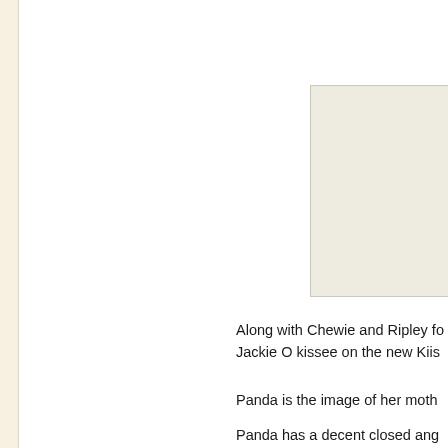[Figure (photo): A rectangular placeholder image positioned in the upper right area of the page.]
Along with Chewie and Ripley fo Jackie O kissee on the new Kiis
Panda is the image of her moth
Panda has a decent closed ang